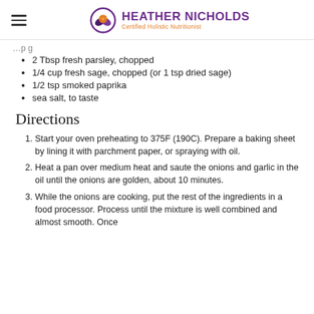HEATHER NICHOLDS — Certified Holistic Nutritionist
2 Tbsp fresh parsley, chopped
1/4 cup fresh sage, chopped (or 1 tsp dried sage)
1/2 tsp smoked paprika
sea salt, to taste
Directions
Start your oven preheating to 375F (190C). Prepare a baking sheet by lining it with parchment paper, or spraying with oil.
Heat a pan over medium heat and saute the onions and garlic in the oil until the onions are golden, about 10 minutes.
While the onions are cooking, put the rest of the ingredients in a food processor. Process until the mixture is well combined and almost smooth. Once